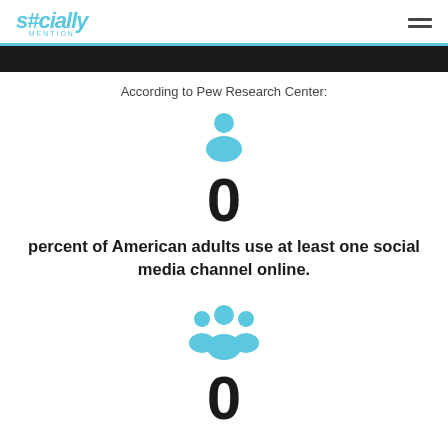Socially (logo) + hamburger menu
[Figure (infographic): Black banner image strip]
According to Pew Research Center:
[Figure (illustration): Light blue single person icon]
0
percent of American adults use at least one social media channel online.
[Figure (illustration): Light blue group of people icon]
0